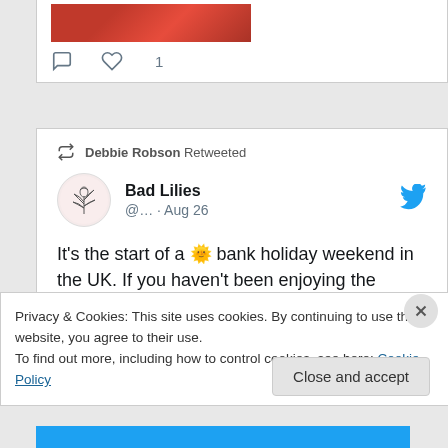[Figure (screenshot): Partial tweet card at top showing a red image thumbnail and action icons (comment, heart with count 1)]
Debbie Robson Retweeted
[Figure (screenshot): Tweet from Bad Lilies account (@...) dated Aug 26 with Twitter bird logo and circular avatar showing illustrated plant]
It's the start of a 🌞 bank holiday weekend in the UK. If you haven't been enjoying the fantastic poets in our latest issue, now is your chance! badlilies.uk/issue-nine
Privacy & Cookies: This site uses cookies. By continuing to use this website, you agree to their use.
To find out more, including how to control cookies, see here: Cookie Policy
Close and accept